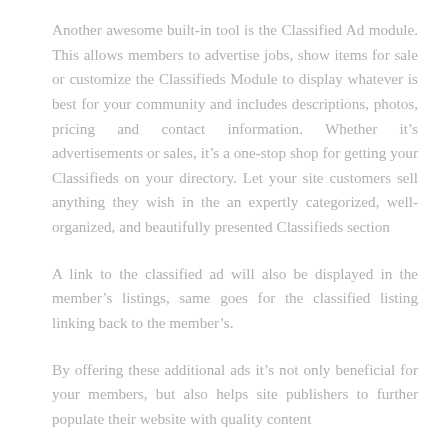Another awesome built-in tool is the Classified Ad module. This allows members to advertise jobs, show items for sale or customize the Classifieds Module to display whatever is best for your community and includes descriptions, photos, pricing and contact information. Whether it's advertisements or sales, it's a one-stop shop for getting your Classifieds on your directory. Let your site customers sell anything they wish in the an expertly categorized, well-organized, and beautifully presented Classifieds section
A link to the classified ad will also be displayed in the member's listings, same goes for the classified listing linking back to the member's.
By offering these additional ads it's not only beneficial for your members, but also helps site publishers to further populate their website with quality content